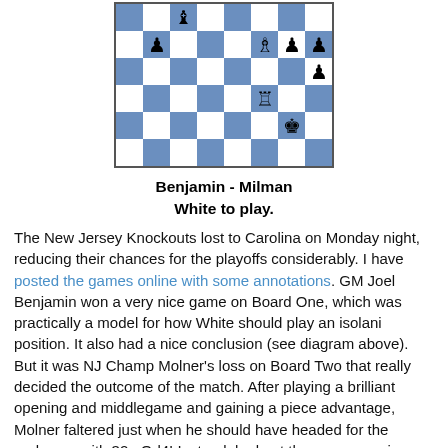[Figure (other): Chess board diagram showing a position from Benjamin vs Milman game, with pieces on various squares. White rook on f5, Black pieces including rook on f8, bishop on f7, king on g6, pawns on b5, g7, h6, h7, h8. White king on g8 area.]
Benjamin - Milman
White to play.
The New Jersey Knockouts lost to Carolina on Monday night, reducing their chances for the playoffs considerably. I have posted the games online with some annotations. GM Joel Benjamin won a very nice game on Board One, which was practically a model for how White should play an isolani position. It also had a nice conclusion (see diagram above). But it was NJ Champ Molner’s loss on Board Two that really decided the outcome of the match. After playing a brilliant opening and middlegame and gaining a piece advantage, Molner faltered just when he should have headed for the endgame with 32...Qd4! Instead, he kept the queens on in a complicated position and erred, likely in time pressure, turning a likely win into a loss. Our bottom boards were pretty well outplayed, and Carolina should have gained two